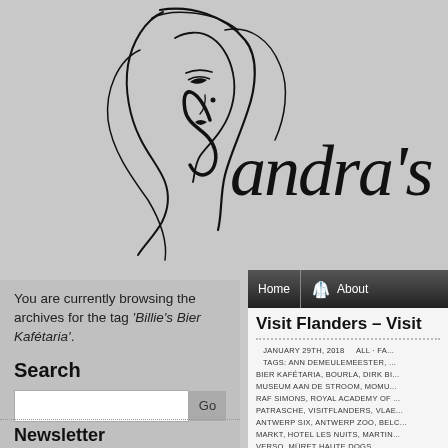[Figure (logo): Sandra's Cl... logo with stylized woman face illustration and cursive script text on grey background]
You are currently browsing the archives for the tag 'Billie's Bier Kafétaria'.
Search
[Figure (screenshot): Search input field with Go button]
Newsletter
[Figure (screenshot): Navigation bar with Home and About links on dark background]
Visit Flanders – Visit...
JANUARY 29TH, 2018    ALL · FA...
TAGS: ANN DEMEULEMEESTER, ...
BIER KAFÉTARIA, BOURLA, DIRK BI...
MUSEUM AAN DE STROOM, MOMU...
RAF SIMONS, ROYAL ACADEMY OF ...
PATRASCHE, VISITFLANDERS, VLAE...
ANTWERP SIX, ANTWERP ZOO, BELC...
MARKT, HOTEL LES NUITS, MARTIN...
VERSO, MÜRET HAUTE DOGS...